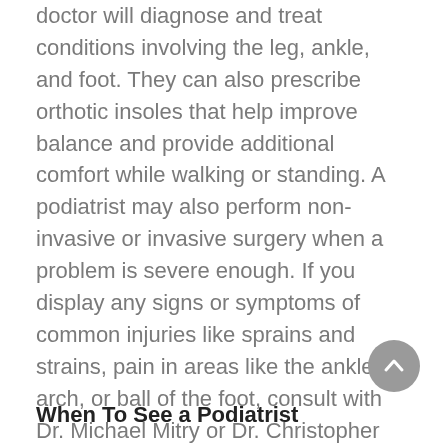doctor will diagnose and treat conditions involving the leg, ankle, and foot. They can also prescribe orthotic insoles that help improve balance and provide additional comfort while walking or standing. A podiatrist may also perform non-invasive or invasive surgery when a problem is severe enough. If you display any signs or symptoms of common injuries like sprains and strains, pain in areas like the ankle, arch, or ball of the foot, consult with Dr. Michael Mitry or Dr. Christopher Karter in our Needham, MA, office to discuss treatment options.
When To See a Podiatrist